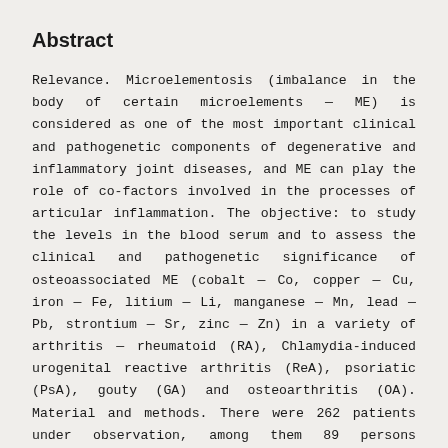Abstract
Relevance. Microelementosis (imbalance in the body of certain microelements — ME) is considered as one of the most important clinical and pathogenetic components of degenerative and inflammatory joint diseases, and ME can play the role of co-factors involved in the processes of articular inflammation. The objective: to study the levels in the blood serum and to assess the clinical and pathogenetic significance of osteoassociated ME (cobalt — Co, copper — Cu, iron — Fe, litium — Li, manganese — Mn, lead — Pb, strontium — Sr, zinc — Zn) in a variety of arthritis — rheumatoid (RA), Chlamydia-induced urogenital reactive arthritis (ReA), psoriatic (PsA), gouty (GA) and osteoarthritis (OA). Material and methods. There were 262 patients under observation, among them 89 persons suffering from RA, 31 — ReA, 35 — PsA, 49 — GA and 58 — OA. The distribution of males and females in these groups were 1 : 2, 2 : 1, 1 : 1, 11: